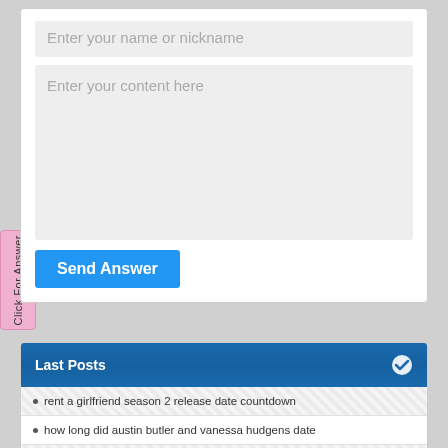Enter your name or nickname
Enter your content here
Send Answer
Click For Answer
Last Posts
rent a girlfriend season 2 release date countdown
how long did austin butler and vanessa hudgens date
why are all the black sitting together in the cafeteria